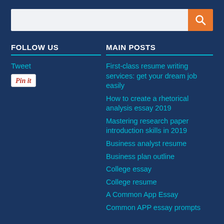[Figure (other): Search bar with orange search button containing a magnifying glass icon]
FOLLOW US
MAIN POSTS
Tweet
[Figure (other): Pinterest Pin It button]
First-class resume writing services: get your dream job easily
How to create a rhetorical analysis essay 2019
Mastering research paper introduction skills in 2019
Business analyst resume
Business plan outline
College essay
College resume
A Common App Essay
Common APP essay prompts